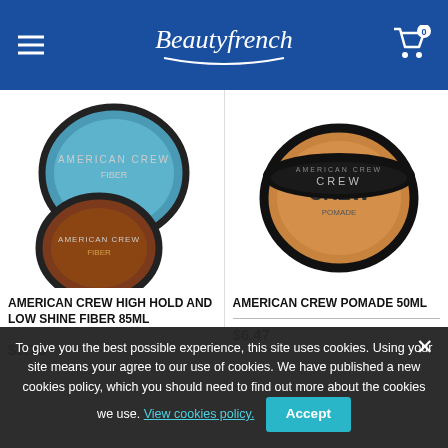BeautyFrench — navigation header with menu icon, logo, and cart (0 items)
[Figure (photo): American Crew High Hold and Low Shine Fiber 85ml product — two circular tin containers, one teal-coloured and one dark brown with Fiber label]
AMERICAN CREW HIGH HOLD AND LOW SHINE FIBER 85ML
$9.75
[Figure (photo): American Crew Pomade 50ml product — one large circular tin container with gold/tan lid]
AMERICAN CREW POMADE 50ML
$6.47
To give you the best possible experience, this site uses cookies. Using your site means your agree to our use of cookies. We have published a new cookies policy, which you should need to find out more about the cookies we use. View cookies policy.